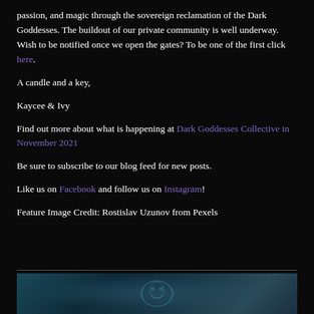passion, and magic through the sovereign reclamation of the Dark Goddesses. The buildout of our private community is well underway. Wish to be notified once we open the gates? To be one of the first click here.
A candle and a key,
Kaycee & Ivy
Find out more about what is happening at Dark Goddesses Collective in November 2021
Be sure to subscribe to our blog feed for new posts.
Like us on Facebook and follow us on Instagram!
Feature Image Credit: Rostislav Uzunov from Pexels
[Figure (photo): Partial view of a dark teal/cyan artistic image at the bottom of the page]